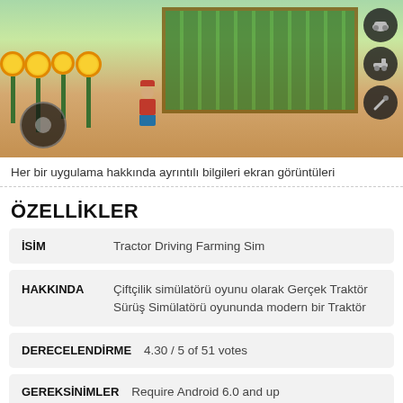[Figure (screenshot): Mobile farming game screenshot showing a farmer character standing near sunflowers with a field of crops, game UI controls on the right side including tractor icon buttons, and a joystick on the lower left.]
Her bir uygulama hakkında ayrıntılı bilgileri ekran görüntüleri
ÖZELLİKLER
| Label | Value |
| --- | --- |
| İSİM | Tractor Driving Farming Sim |
| HAKKINDA | Çiftçilik simülatörü oyunu olarak Gerçek Traktör Sürüş Simülatörü oyununda modern bir Traktör |
| DERECELENDİRME | 4.30 / 5 of 51 votes |
| GEREKSİNİMLER | Require Android 6.0 and up |